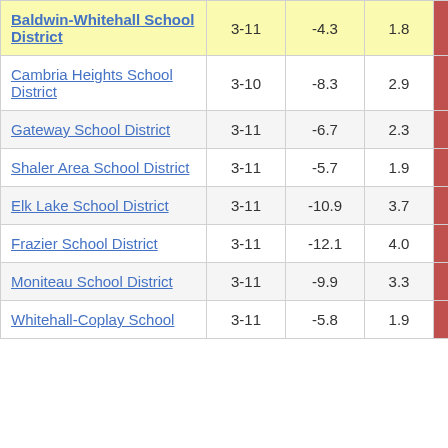| District | Grades | Col3 | Col4 | Score |
| --- | --- | --- | --- | --- |
| Baldwin-Whitehall School District | 3-11 | -4.3 | 1.8 | -2.33 |
| Cambria Heights School District | 3-10 | -8.3 | 2.9 | -2.92 |
| Gateway School District | 3-11 | -6.7 | 2.3 | -2.93 |
| Shaler Area School District | 3-11 | -5.7 | 1.9 | -2.96 |
| Elk Lake School District | 3-11 | -10.9 | 3.7 | -2.97 |
| Frazier School District | 3-11 | -12.1 | 4.0 | -3.00 |
| Moniteau School District | 3-11 | -9.9 | 3.3 | -3.01 |
| Whitehall-Coplay School | 3-11 | -5.8 | 1.9 | -3.01 |